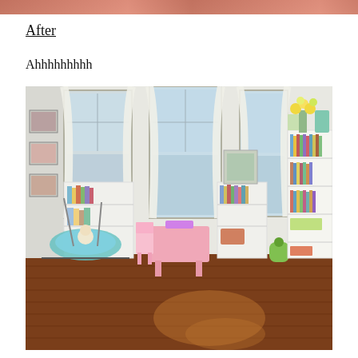[Figure (photo): Top strip of a photo showing people, partially cropped at the top of the page]
After
Ahhhhhhhhh
[Figure (photo): A tidy children's playroom with hardwood floors, three windows with white sheer curtains, white bookshelves filled with books and toys, a small pink table and chairs, a baby swing, framed photos on the wall, and a vase of flowers on top of a bookshelf.]